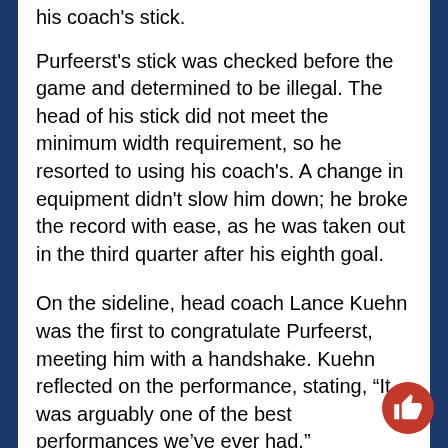his coach's stick.
Purfeerst's stick was checked before the game and determined to be illegal. The head of his stick did not meet the minimum width requirement, so he resorted to using his coach's. A change in equipment didn't slow him down; he broke the record with ease, as he was taken out in the third quarter after his eighth goal.
On the sideline, head coach Lance Kuehn was the first to congratulate Purfeerst, meeting him with a handshake. Kuehn reflected on the performance, stating, “It was arguably one of the best performances we’ve ever had.”
Purfeerst was particularly excited about one of his goals, where he caught the goalie’s clearing attempt, “out of his stick,” and scored immediately thereafter. Despite this, Purfeerst deflected personal attention back on the team, saying, “It’s not about the points, its